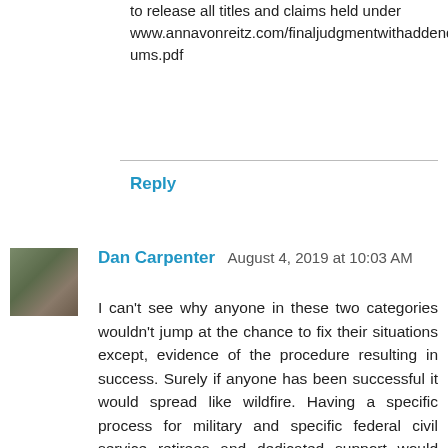to release all titles and claims held under www.annavonreitz.com/finaljudgmentwithaddendums.pdf
Reply
Dan Carpenter  August 4, 2019 at 10:03 AM
I can't see why anyone in these two categories wouldn't jump at the chance to fix their situations except, evidence of the procedure resulting in success. Surely if anyone has been successful it would spread like wildfire. Having a specific process for military and specific federal civil service retirees and dedicated support would certainly move this along. Keeping an accessible list of successes would certainly help promote it and provide support to newbies. I know from my personal experience of working with Canadian retired military that they have been so indoctrinated to follow orders that they almost have to be spoon fed every step of the way. These were intelligent people but deprived of their ability to think their way through